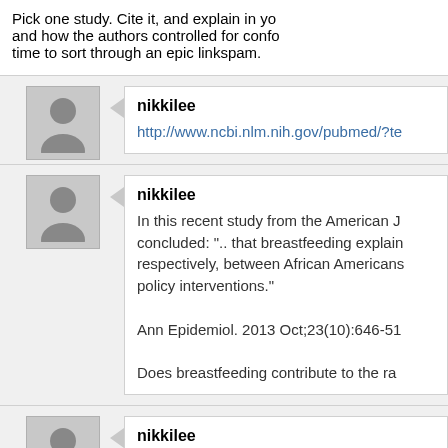Pick one study. Cite it, and explain in yo and how the authors controlled for confo time to sort through an epic linkspam.
nikkilee
http://www.ncbi.nlm.nih.gov/pubmed/?te
nikkilee
In this recent study from the American J concluded: ".. that breastfeeding explain respectively, between African Americans policy interventions."
Ann Epidemiol. 2013 Oct;23(10):646-51
Does breastfeeding contribute to the ra
nikkilee